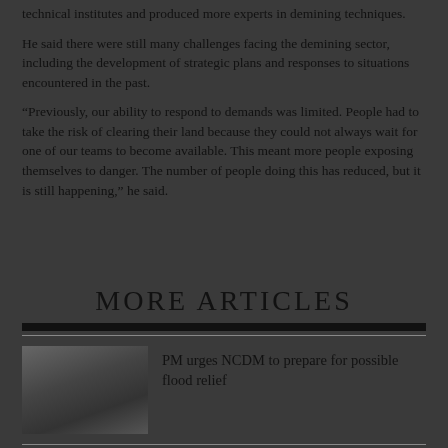technical institutes and produced more experts in demining techniques.
He said there were still many challenges facing the demining sector, including the development of strategic plans and responses to situations encountered in the past.
“Previously, our ability to respond to demands was limited. People had to take the risk of clearing their land because they could not always wait for one of our teams to become available. This meant more people exposing themselves to danger. The number of people doing this has reduced, but it is still happening,” he said.
MORE ARTICLES
[Figure (photo): Photograph of people at an outdoor scene, likely related to flood or disaster relief context]
PM urges NCDM to prepare for possible flood relief
[Figure (photo): Partial photograph thumbnail at bottom of page]
Japan donates equipment for Kro